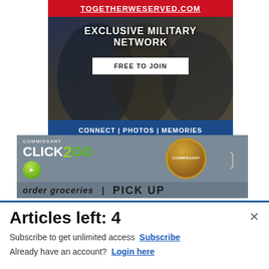[Figure (screenshot): TogetherWeServed.com advertisement banner. Red header with TOGETHERWESERVED.COM in white underlined text. Photo of military personnel in camouflage uniforms. Bold white text: EXCLUSIVE MILITARY NETWORK. White button: FREE TO JOIN. Blue footer bar: CONNECT | PHOTOS | MEMORIES.]
[Figure (screenshot): Commissary Click2Go advertisement. Gray background with COMMISSARY CLICK2GO logo featuring green circle with arrow, Commissary round badge/seal. Text: order groceries. Blue bar at bottom. Chevron arrow on right.]
Articles left: 4
Subscribe to get unlimited access  Subscribe
Already have an account?  Login here